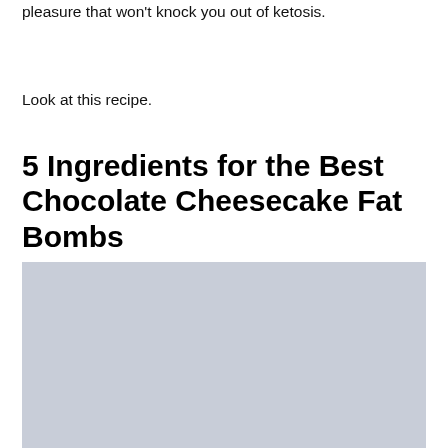pleasure that won't knock you out of ketosis.
Look at this recipe.
5 Ingredients for the Best Chocolate Cheesecake Fat Bombs
[Figure (photo): Gray placeholder image of chocolate cheesecake fat bombs]